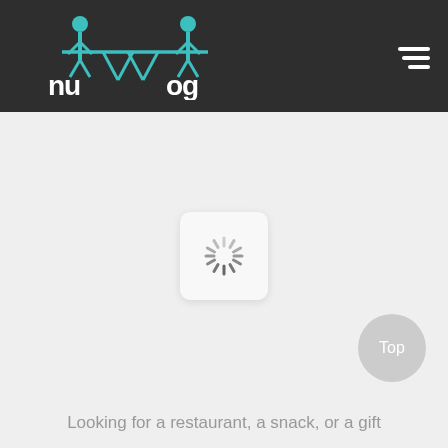nutmog coworking & services
[Figure (screenshot): Loading spinner inside a white rounded rectangle card, centered on a light gray background]
[Figure (other): Top button - circular light gray button with text 'Top']
Looking for a restaurant, a snack, or a gift